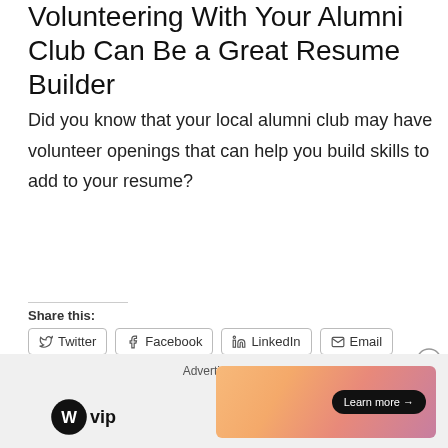Volunteering With Your Alumni Club Can Be a Great Resume Builder
Did you know that your local alumni club may have volunteer openings that can help you build skills to add to your resume?
Share this:
Twitter  Facebook  LinkedIn  Email
Like
Be the first to like this.
[Figure (screenshot): Advertisement bar with WordPress VIP logo and a colorful gradient ad banner with a Learn more button]